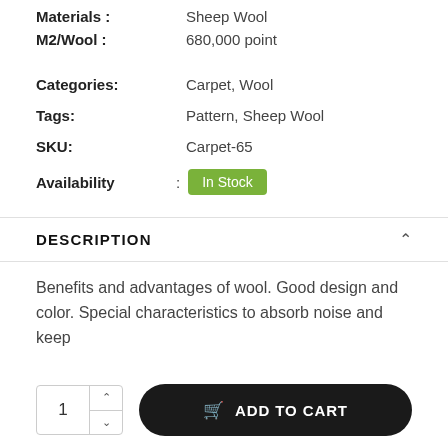Materials : Sheep Wool
M2/Wool : 680,000 point
Categories: Carpet, Wool
Tags: Pattern, Sheep Wool
SKU: Carpet-65
Availability : In Stock
DESCRIPTION
Benefits and advantages of wool. Good design and color. Special characteristics to absorb noise and keep